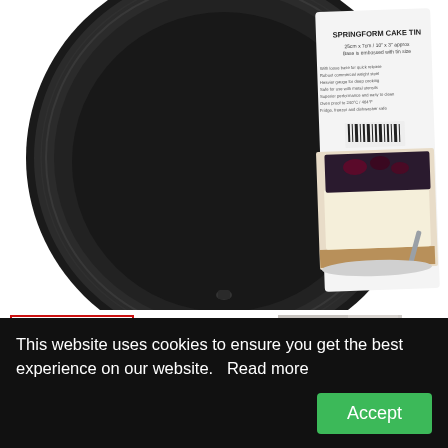[Figure (photo): Black non-stick springform cake tin photographed from above, showing the packaging label in the center with product name 'SPRINGFORM CAKE TIN', dimensions, and a photo of a cheesecake slice on the label. The tin is circular with a dark matte finish.]
[Figure (photo): Thumbnail strip showing three product images: (1) selected thumbnail with red border showing front-facing product packaging, (2) springform cake tin open/assembled view from above, (3) lifestyle photo with decorative items. A right arrow navigation chevron is visible.]
This website uses cookies to ensure you get the best experience on our website.   Read more
Accept